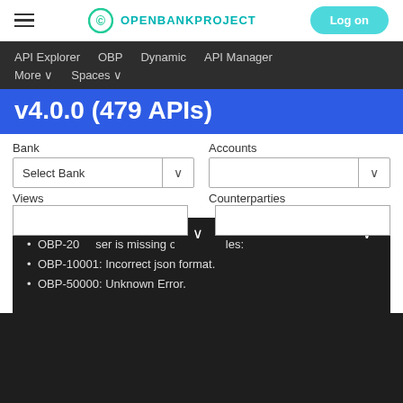Open Bank Project - Log on
API Explorer  OBP  Dynamic  API Manager  More  Spaces
v4.0.0 (479 APIs)
Bank  Accounts  Select Bank  Views  Counterparties
OBP-20...: User is missing one or more roles:
OBP-10001: Incorrect json format.
OBP-50000: Unknown Error.